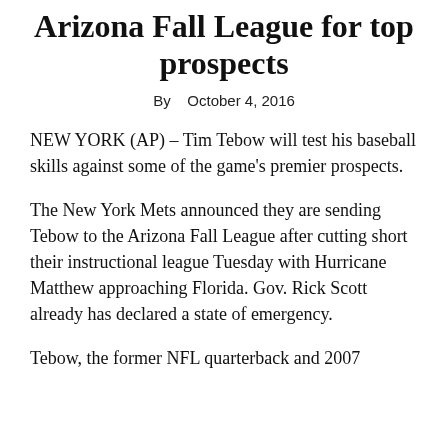Arizona Fall League for top prospects
By   October 4, 2016
NEW YORK (AP) – Tim Tebow will test his baseball skills against some of the game's premier prospects.
The New York Mets announced they are sending Tebow to the Arizona Fall League after cutting short their instructional league Tuesday with Hurricane Matthew approaching Florida. Gov. Rick Scott already has declared a state of emergency.
Tebow, the former NFL quarterback and 2007